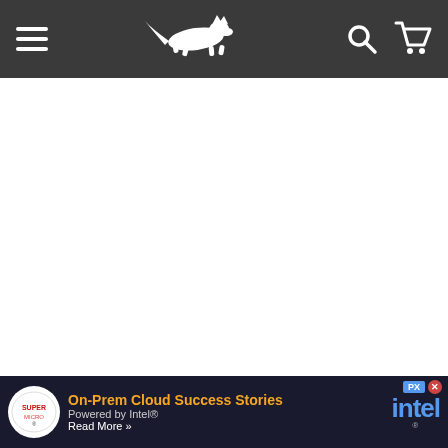[Figure (screenshot): Website navigation bar with dark gray background, hamburger menu on left, running fox logo in center, search and cart icons on right]
[Figure (other): Large blank white area representing an embedded video or image placeholder]
Found from The Krazy Coupon Lady
If you already have a Prime account, just choose FREE No...  ...nually
[Figure (other): Supermicro advertisement banner: On-Prem Cloud Success Stories Powered by Intel Read More, with Intel logo on right side, and PX close buttons]